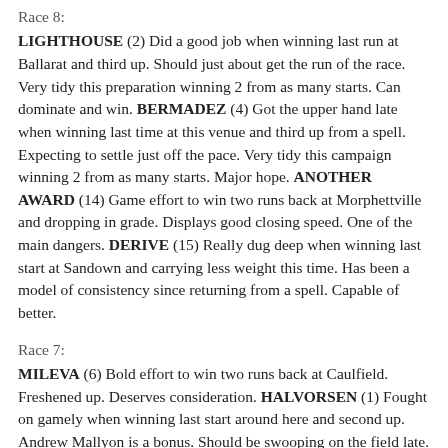Race 8:
LIGHTHOUSE (2) Did a good job when winning last run at Ballarat and third up. Should just about get the run of the race. Very tidy this preparation winning 2 from as many starts. Can dominate and win. BERMADEZ (4) Got the upper hand late when winning last time at this venue and third up from a spell. Expecting to settle just off the pace. Very tidy this campaign winning 2 from as many starts. Major hope. ANOTHER AWARD (14) Game effort to win two runs back at Morphettville and dropping in grade. Displays good closing speed. One of the main dangers. DERIVE (15) Really dug deep when winning last start at Sandown and carrying less weight this time. Has been a model of consistency since returning from a spell. Capable of better.
Race 7:
MILEVA (6) Bold effort to win two runs back at Caulfield. Freshened up. Deserves consideration. HALVORSEN (1) Fought on gamely when winning last start around here and second up. Andrew Mallyon is a bonus. Should be swooping on the field late. Suited. TEQUILA TIME (11) Got the cash when winning last run at Morphettville and having third run back from a spell. Expecting